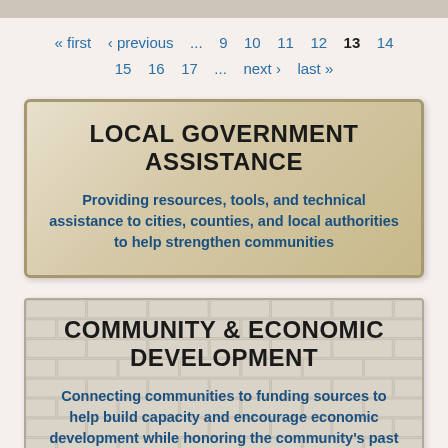« first ‹ previous … 9 10 11 12 13 14 15 16 17 … next › last »
LOCAL GOVERNMENT ASSISTANCE
Providing resources, tools, and technical assistance to cities, counties, and local authorities to help strengthen communities
COMMUNITY & ECONOMIC DEVELOPMENT
Connecting communities to funding sources to help build capacity and encourage economic development while honoring the community's past through historic preservation